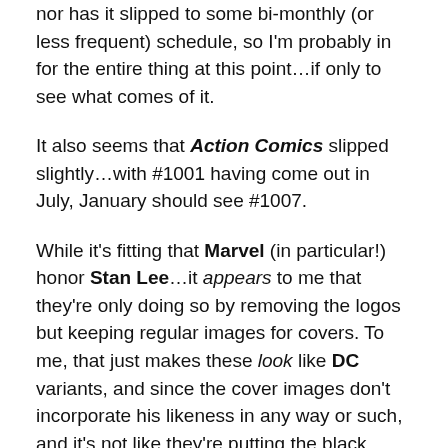nor has it slipped to some bi-monthly (or less frequent) schedule, so I'm probably in for the entire thing at this point…if only to see what comes of it.
It also seems that Action Comics slipped slightly…with #1001 having come out in July, January should see #1007.
While it's fitting that Marvel (in particular!) honor Stan Lee…it appears to me that they're only doing so by removing the logos but keeping regular images for covers. To me, that just makes these look like DC variants, and since the cover images don't incorporate his likeness in any way or such, and it's not like they're putting the black memorial band OVER a logo. And given his own large/over-the-top/grandiose-ness…it seems to me a disservice to hide the big, bold logos and such of the characters that directly or tangentially are here because of him.